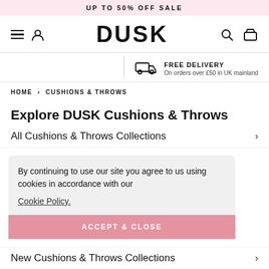UP TO 50% OFF SALE
DUSK
FREE DELIVERY
On orders over £50 in UK mainland
HOME > CUSHIONS & THROWS
Explore DUSK Cushions & Throws
All Cushions & Throws Collections
By continuing to use our site you agree to us using cookies in accordance with our
Cookie Policy.
ACCEPT & CLOSE
New Cushions & Throws Collections